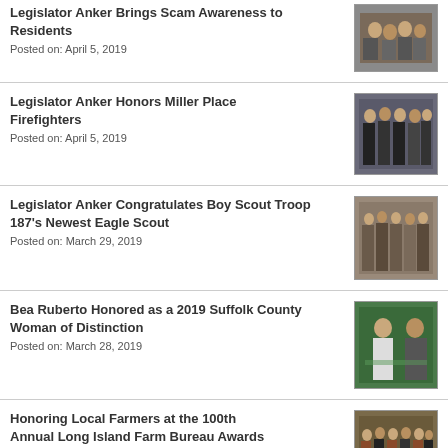Legislator Anker Brings Scam Awareness to Residents
Posted on: April 5, 2019
[Figure (photo): Group of people at an event in a room]
Legislator Anker Honors Miller Place Firefighters
Posted on: April 5, 2019
[Figure (photo): Group photo of people including firefighters]
Legislator Anker Congratulates Boy Scout Troop 187's Newest Eagle Scout
Posted on: March 29, 2019
[Figure (photo): Group photo of people at an event]
Bea Ruberto Honored as a 2019 Suffolk County Woman of Distinction
Posted on: March 28, 2019
[Figure (photo): Two people posing in front of a green backdrop]
Honoring Local Farmers at the 100th Annual Long Island Farm Bureau Awards Gala
Posted on: March 26, 2019
[Figure (photo): Group of people posing together at an awards gala]